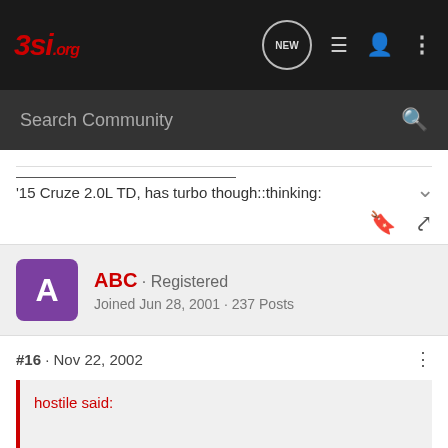3si.org
Search Community
'15 Cruze 2.0L TD, has turbo though::thinking:
ABC · Registered
Joined Jun 28, 2001 · 237 Posts
#16 · Nov 22, 2002
hostile said: